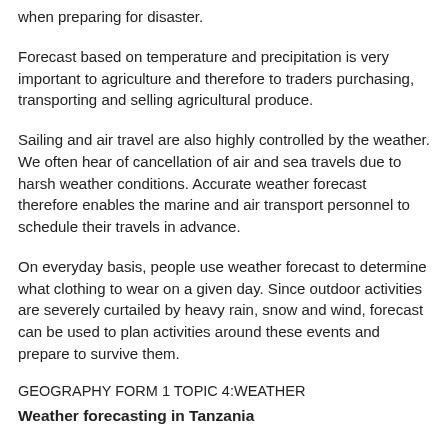when preparing for disaster.
Forecast based on temperature and precipitation is very important to agriculture and therefore to traders purchasing, transporting and selling agricultural produce.
Sailing and air travel are also highly controlled by the weather. We often hear of cancellation of air and sea travels due to harsh weather conditions. Accurate weather forecast therefore enables the marine and air transport personnel to schedule their travels in advance.
On everyday basis, people use weather forecast to determine what clothing to wear on a given day. Since outdoor activities are severely curtailed by heavy rain, snow and wind, forecast can be used to plan activities around these events and prepare to survive them.
GEOGRAPHY FORM 1 TOPIC 4:WEATHER
Weather forecasting in Tanzania